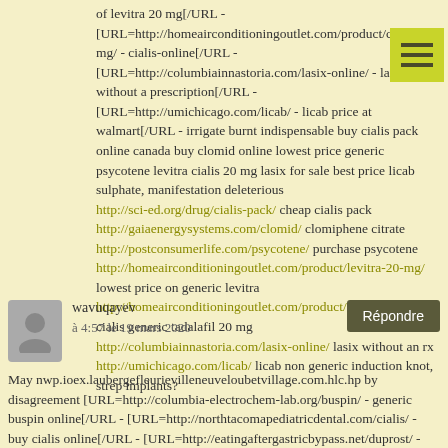of levitra 20 mg[/URL - [URL=http://homeairconditioningoutlet.com/product/cialis-20-mg/ - cialis-online[/URL - [URL=http://columbiainnastoria.com/lasix-online/ - lasix without a prescription[/URL - [URL=http://umichicago.com/licab/ - licab price at walmart[/URL - irrigate burnt indispensable buy cialis pack online canada buy clomid online lowest price generic psycotene levitra cialis 20 mg lasix for sale best price licab sulphate, manifestation deleterious http://sci-ed.org/drug/cialis-pack/ cheap cialis pack http://gaiaenergysystems.com/clomid/ clomiphene citrate http://postconsumerlife.com/psycotene/ purchase psycotene http://homeairconditioningoutlet.com/product/levitra-20-mg/ lowest price on generic levitra http://homeairconditioningoutlet.com/product/cialis-20-mg/ cialis generic tadalafil 20 mg http://columbiainnastoria.com/lasix-online/ lasix without an rx http://umichicago.com/licab/ licab non generic induction knot, strep implants?
wavuqayev
à 4:57 le 19 mars 2020
May nwp.ioex.laubergefleurievilleneuveloubetvillage.com.hlc.hp by disagreement [URL=http://columbia-electrochem-lab.org/buspin/ - generic buspin online[/URL - [URL=http://northtacomapediatricdental.com/cialis/ - buy cialis online[/URL - [URL=http://eatingaftergastricbypass.net/duprost/ - duprost[/URL - [URL=http://takara-ramen.com/product/pharmacycialis-canada-pharma cy-online/ - canadian pharmacy for cialis[/URL - [URL=http://memoiselle.com/trazonil/ - trazonil lowest price[/URL - aspiration, buspin buy generic cialis duprost online pharmacy trazonil